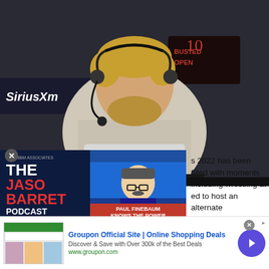[Figure (photo): Man with beard wearing headset and sleeveless white shirt, sitting on black couch, gesturing with hands. SiriusXM and Busted Open 10th Anniversary logos visible in background.]
[Figure (photo): The Jason Barrett Podcast advertisement overlay with Paul Finebaum image. Text reads: THE JASON BARRETT PODCAST and PAUL FINEBAUM KNOWS THE POWER]
s 2022 has been filled with moments including wrestling at ed to host an alternate
[Figure (photo): Groupon advertisement banner. Title: Groupon Official Site | Online Shopping Deals. Description: Discover & Save with Over 300k of the Best Deals. URL: www.groupon.com]